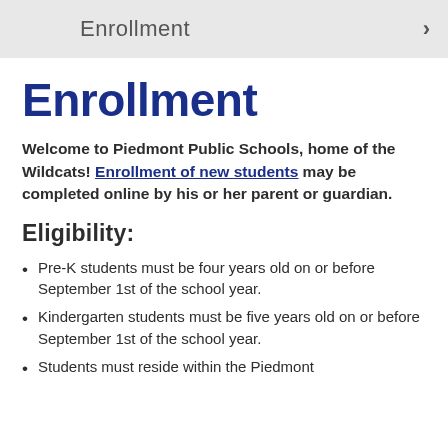Enrollment ›
Enrollment
Welcome to Piedmont Public Schools, home of the Wildcats! Enrollment of new students may be completed online by his or her parent or guardian.
Eligibility:
Pre-K students must be four years old on or before September 1st of the school year.
Kindergarten students must be five years old on or before September 1st of the school year.
Students must reside within the Piedmont Public schools attendance area.